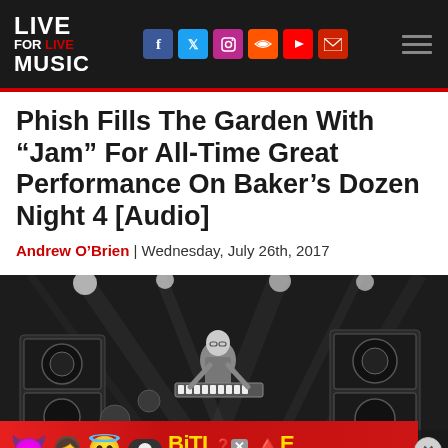LIVE FOR LIVE MUSIC — navigation header with social icons
Phish Fills The Garden With “Jam” For All-Time Great Performance On Baker’s Dozen Night 4 [Audio]
Andrew O’Brien | Wednesday, July 26th, 2017
[Figure (photo): Black and white concert photo of a musician playing keyboard/guitar on stage with bright stage lights and equipment visible]